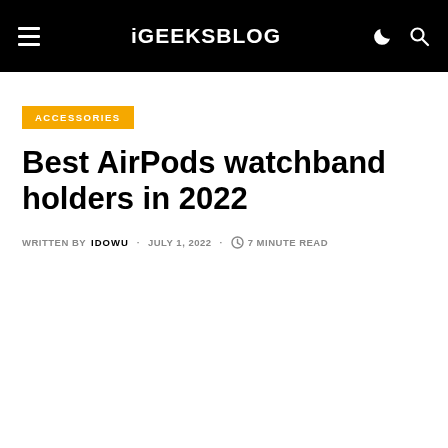iGEEKSBLOG
ACCESSORIES
Best AirPods watchband holders in 2022
WRITTEN BY IDOWU · JULY 1, 2022 · 7 MINUTE READ